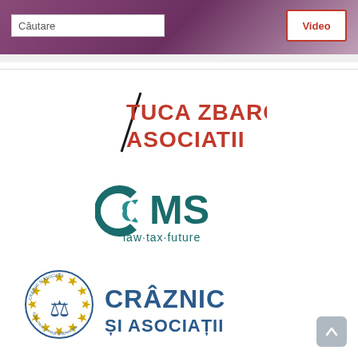[Figure (screenshot): Website header with gradient purple background, search box labeled Căutare, and red-outlined Video button]
[Figure (logo): Tuca Zbarcea Asociatii law firm logo in red text with diagonal black line accent]
[Figure (logo): CMS law·tax·future logo in teal/dark green]
[Figure (logo): Crâznic și Asociații law firm logo with circular seal and blue text]